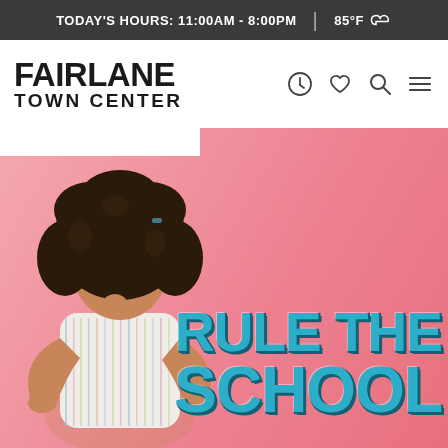TODAY'S HOURS: 11:00AM - 8:00PM | 85°F ☁
[Figure (logo): Fairlane Town Center logo with navigation icons: history/recently viewed, wishlist heart, search, and hamburger menu]
[Figure (photo): A young Black girl with curly hair wearing a striped white blouse, posing against a pink background with the text 'RULE THE SCHOOL' in large teal/blue bold letters]